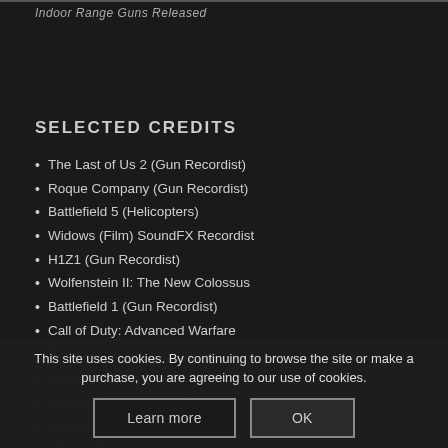Indoor Range Guns Released
SELECTED CREDITS
The Last of Us 2 (Gun Recordist)
Roque Company (Gun Recordist)
Battlefield 5 (Helicopters)
Widows (Film) SoundFX Recordist
H1Z1 (Gun Recordist)
Wolfenstein II: The New Colossus
Battlefield 1 (Gun Recordist)
Call of Duty: Advanced Warfare
Battlefield 4
Supreme Commander 1 & 2
Unreal Championship 2
Dungeon Siege 1 & 2
Metroid Prime 1, 2 & 3
This site uses cookies. By continuing to browse the site or make a purchase, you are agreeing to our use of cookies.